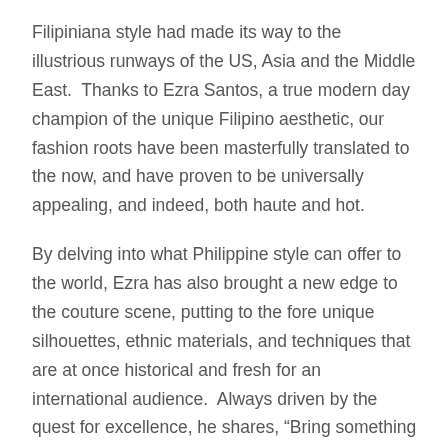Filipiniana style had made its way to the illustrious runways of the US, Asia and the Middle East.  Thanks to Ezra Santos, a true modern day champion of the unique Filipino aesthetic, our fashion roots have been masterfully translated to the now, and have proven to be universally appealing, and indeed, both haute and hot.
By delving into what Philippine style can offer to the world, Ezra has also brought a new edge to the couture scene, putting to the fore unique silhouettes, ethnic materials, and techniques that are at once historical and fresh for an international audience.  Always driven by the quest for excellence, he shares, “Bring something new and reinforce it to the fashion world. Become an untradeable signature for every single